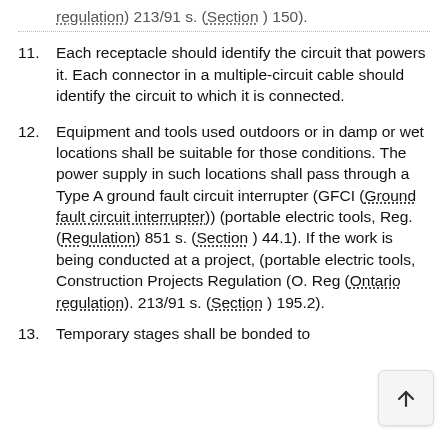regulation) 213/91 s. (Section ) 150).
11. Each receptacle should identify the circuit that powers it. Each connector in a multiple-circuit cable should identify the circuit to which it is connected.
12. Equipment and tools used outdoors or in damp or wet locations shall be suitable for those conditions. The power supply in such locations shall pass through a Type A ground fault circuit interrupter (GFCI (Ground fault circuit interrupter)) (portable electric tools, Reg. (Regulation) 851 s. (Section ) 44.1). If the work is being conducted at a project, (portable electric tools, Construction Projects Regulation (O. Reg (Ontario regulation). 213/91 s. (Section ) 195.2).
13. Temporary stages shall be bonded to